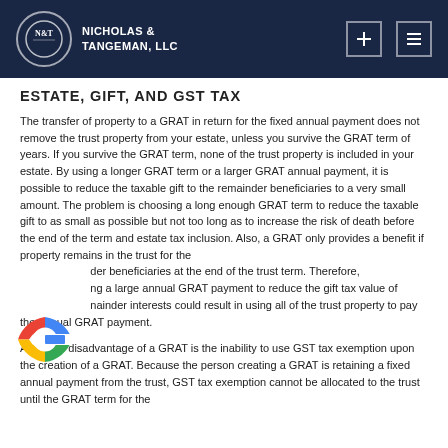Nicholas & Tangeman, LLC
ESTATE, GIFT, AND GST TAX
The transfer of property to a GRAT in return for the fixed annual payment does not remove the trust property from your estate, unless you survive the GRAT term of years. If you survive the GRAT term, none of the trust property is included in your estate. By using a longer GRAT term or a larger GRAT annual payment, it is possible to reduce the taxable gift to the remainder beneficiaries to a very small amount. The problem is choosing a long enough GRAT term to reduce the taxable gift to as small as possible but not too long as to increase the risk of death before the end of the term and estate tax inclusion. Also, a GRAT only provides a benefit if property remains in the trust for the remainder beneficiaries at the end of the trust term. Therefore, using a large annual GRAT payment to reduce the gift tax value of the remainder interests could result in using all of the trust property to pay the annual GRAT payment.
A serious disadvantage of a GRAT is the inability to use GST tax exemption upon the creation of a GRAT. Because the person creating a GRAT is retaining a fixed annual payment from the trust, GST tax exemption cannot be allocated to the trust until the GRAT term for the